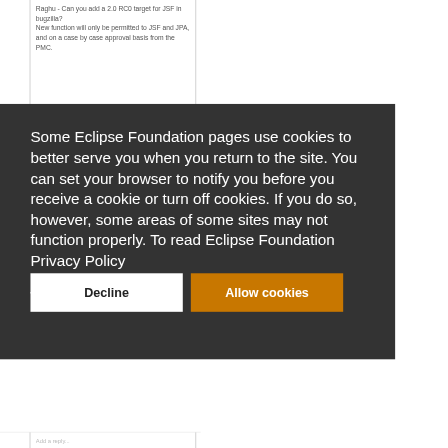Raghu - Can you add a 2.0 RC0 target for JSF in bugzilla?
New function will only be permitted to JSF and JPA, and on a case by case approval basis from the PMC.
Some Eclipse Foundation pages use cookies to better serve you when you return to the site. You can set your browser to notify you before you receive a cookie or turn off cookies. If you do so, however, some areas of some sites may not function properly. To read Eclipse Foundation Privacy Policy click here.
Decline
Allow cookies
Add a reply...